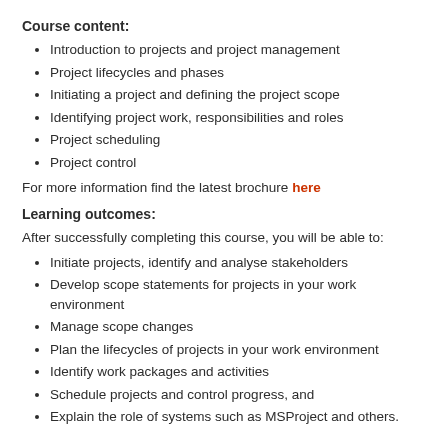Course content:
Introduction to projects and project management
Project lifecycles and phases
Initiating a project and defining the project scope
Identifying project work, responsibilities and roles
Project scheduling
Project control
For more information find the latest brochure here
Learning outcomes:
After successfully completing this course, you will be able to:
Initiate projects, identify and analyse stakeholders
Develop scope statements for projects in your work environment
Manage scope changes
Plan the lifecycles of projects in your work environment
Identify work packages and activities
Schedule projects and control progress, and
Explain the role of systems such as MSProject and others.